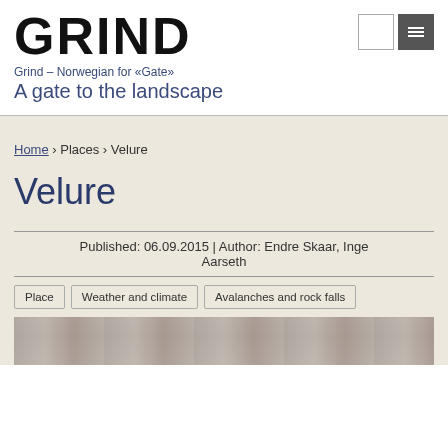[Figure (logo): GRIND logo in large bold black sans-serif letters]
Grind – Norwegian for «Gate»
A gate to the landscape
Home › Places › Velure
Velure
Published: 06.09.2015 | Author: Endre Skaar, Inge Aarseth
Place | Weather and climate | Avalanches and rock falls
[Figure (photo): Landscape photo strip, muted grey-brown tones]